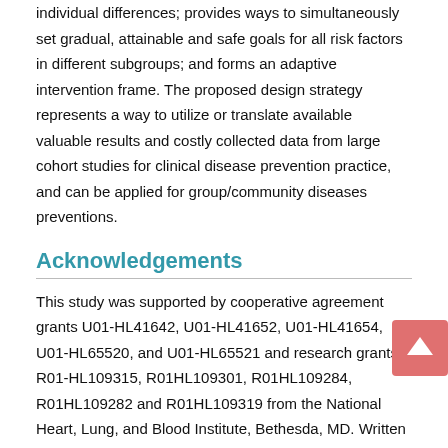individual differences; provides ways to simultaneously set gradual, attainable and safe goals for all risk factors in different subgroups; and forms an adaptive intervention frame. The proposed design strategy represents a way to utilize or translate available valuable results and costly collected data from large cohort studies for clinical disease prevention practice, and can be applied for group/community diseases preventions.
Acknowledgements
This study was supported by cooperative agreement grants U01-HL41642, U01-HL41652, U01-HL41654, U01-HL65520, and U01-HL65521 and research grants R01-HL109315, R01HL109301, R01HL109284, R01HL109282 and R01HL109319 from the National Heart, Lung, and Blood Institute, Bethesda, MD. Written informed consent was obtained from all participants at enrollment. The institutional review boards (Cornell University, MedStar Health,